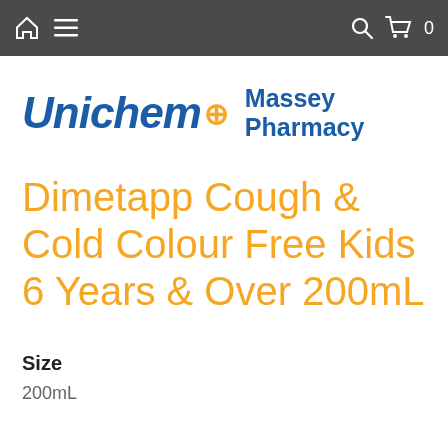Unichem Massey Pharmacy — navigation bar
[Figure (logo): Unichem Massey Pharmacy logo with blue italic bold Unichem text, orange plus symbol, and blue Massey Pharmacy text]
Dimetapp Cough & Cold Colour Free Kids 6 Years & Over 200mL
Size
200mL